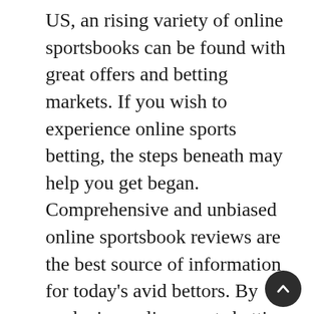US, an rising variety of online sportsbooks can be found with great offers and betting markets. If you wish to experience online sports betting, the steps beneath may help you get began. Comprehensive and unbiased online sportsbook reviews are the best source of information for today's avid bettors. By analyzing online sports betting websites over a wide selection of criteria, we are ready to drill down into features they provide. By testing their providers, we are able to verify [link: สมัครสมาชิกสโบเบ็ต] this information to a very excessive degree.
To learn more about [link: สโบ สโบเบ็ต สโบ สโบ สโบเบ็ตสล็อต] visit sboibc888